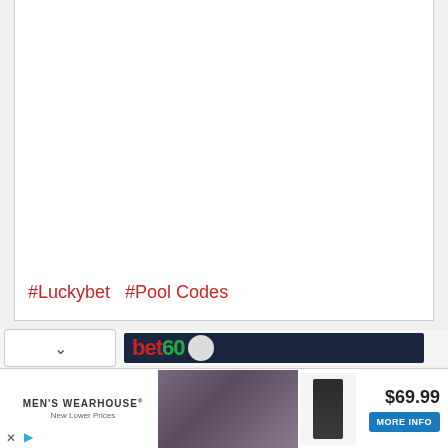#Luckybet  #Pool Codes
[Figure (screenshot): Dark navigation bar with 'bet' logo in red and green text with circular icon, on dark navy background]
[Figure (screenshot): Men's Wearhouse advertisement showing a couple in formal wear, a product image of a suit, price $69.99, and a 'MORE INFO' button. Tagline: New Lower Prices.]